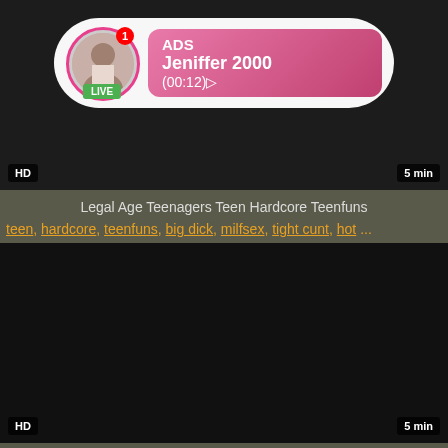[Figure (screenshot): Video thumbnail with dark background showing an ad overlay. The overlay contains a circular avatar with a LIVE badge, a notification dot showing '1', and a pink gradient info box reading 'ADS Jeniffer 2000 (00:12)'. HD badge bottom-left, '5 min' bottom-right.]
Legal Age Teenagers Teen Hardcore Teenfuns
teen, hardcore, teenfuns, big dick, milfsex, tight cunt, hot ...
[Figure (screenshot): Second dark video thumbnail. HD badge bottom-left, '5 min' bottom-right.]
This Hard Schlong Cumshot Teen Blowjob